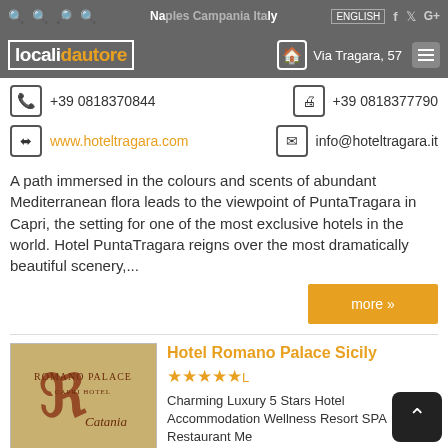Naples Campania Italy  ENGLISH  [icons]
localidautore  Via Tragara, 57
+39 0818370844  +39 0818377790
www.hoteltragara.com  info@hoteltragara.it
A path immersed in the colours and scents of abundant Mediterranean flora leads to the viewpoint of PuntaTragara in Capri, the setting for one of the most exclusive hotels in the world. Hotel PuntaTragara reigns over the most dramatically beautiful scenery,...
more »
Hotel Romano Palace Sicily
★★★★★L
Charming Luxury 5 Stars Hotel Accommodation Wellness Resort SPA Restaurant Me...
Catania Sicily Italy